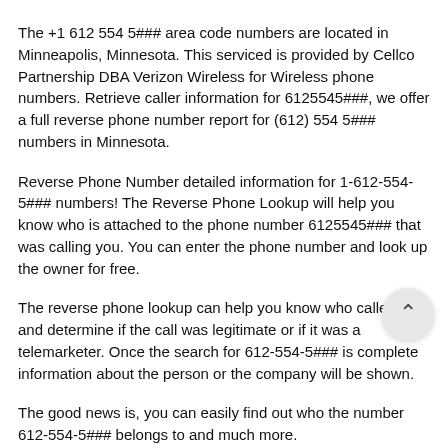The +1 612 554 5### area code numbers are located in Minneapolis, Minnesota. This serviced is provided by Cellco Partnership DBA Verizon Wireless for Wireless phone numbers. Retrieve caller information for 6125545###, we offer a full reverse phone number report for (612) 554 5### numbers in Minnesota.
Reverse Phone Number detailed information for 1-612-554-5### numbers! The Reverse Phone Lookup will help you know who is attached to the phone number 6125545### that was calling you. You can enter the phone number and look up the owner for free.
The reverse phone lookup can help you know who called you and determine if the call was legitimate or if it was a telemarketer. Once the search for 612-554-5### is complete information about the person or the company will be shown.
The good news is, you can easily find out who the number 612-554-5### belongs to and much more.
Should you get a call from phone number 612-554-5### / 6125545###. All you have to do is search the number on this page. As a result, you will get to find out more details about the phone